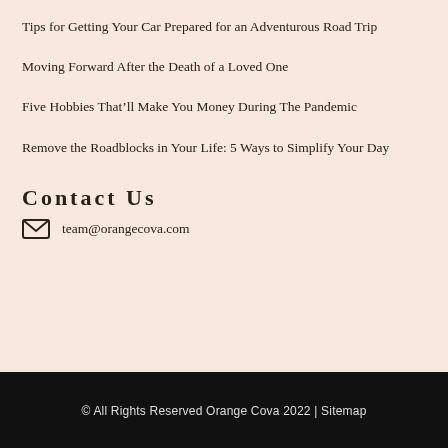Tips for Getting Your Car Prepared for an Adventurous Road Trip
Moving Forward After the Death of a Loved One
Five Hobbies That’ll Make You Money During The Pandemic
Remove the Roadblocks in Your Life: 5 Ways to Simplify Your Day
Contact Us
team@orangecova.com
© All Rights Reserved Orange Cova 2022 | Sitemap